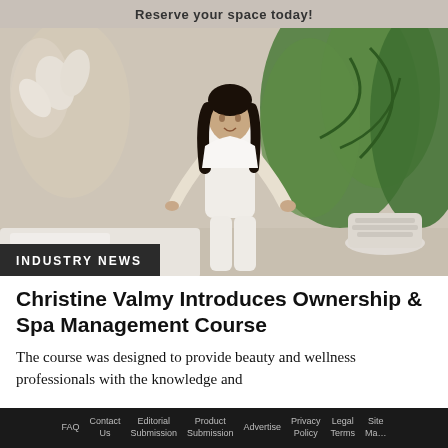Reserve your space today!
[Figure (photo): A woman in white clothing standing in a spa or wellness room with tropical plants in the background]
INDUSTRY NEWS
Christine Valmy Introduces Ownership & Spa Management Course
The course was designed to provide beauty and wellness professionals with the knowledge and
FAQ   Contact Us   Editorial Submission   Product Submission   Advertise   Privacy Policy   Legal Terms   Site Ma…